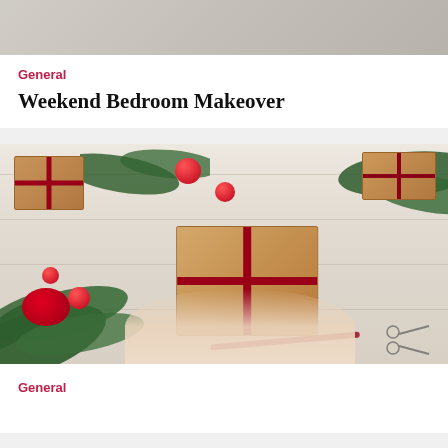[Figure (photo): Partial view of a bedroom or lifestyle photo at the top, cropped]
General
Weekend Bedroom Makeover
[Figure (photo): Overhead view of Christmas gift wrapping scene: kraft paper packages with red ribbons, red ornament balls, pine branches, ribbon spool, scissors, and hands tying a red ribbon on a large gift, on a white wooden surface]
General